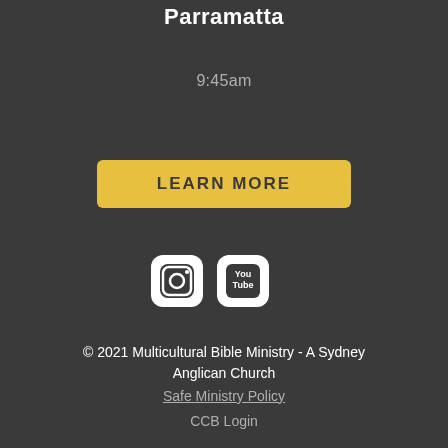Parramatta
9:45am
[Figure (other): LEARN MORE button (yellow/gold rounded rectangle with dark text)]
[Figure (other): Social media icons: Instagram and YouTube, white rounded square icons]
© 2021 Multicultural Bible Ministry - A Sydney Anglican Church
Safe Ministry Policy
CCB Login